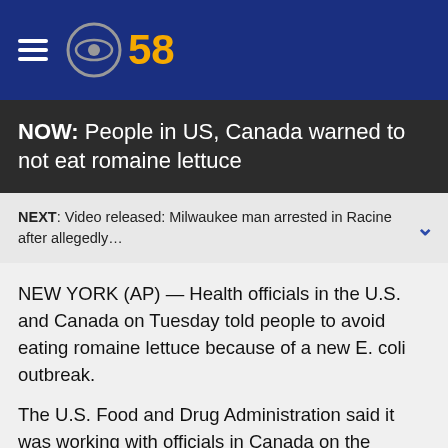[Figure (logo): CBS 58 logo with hamburger menu icon on dark blue background]
NOW: People in US, Canada warned to not eat romaine lettuce
NEXT: Video released: Milwaukee man arrested in Racine after allegedly…
NEW YORK (AP) — Health officials in the U.S. and Canada on Tuesday told people to avoid eating romaine lettuce because of a new E. coli outbreak.
The U.S. Food and Drug Administration said it was working with officials in Canada on the outbreak, which has sickened 32 people in 11 states in the U.S. and 18 people in the Canadian provinces of Ontario and Quebec.